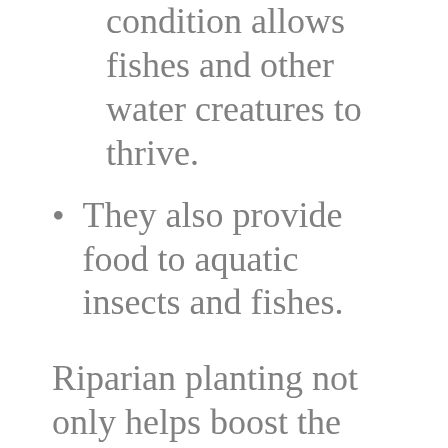condition allows fishes and other water creatures to thrive.
They also provide food to aquatic insects and fishes.
Riparian planting not only helps boost the look of the land, it also sustains it. Aside from the aesthetic benefit, it has environmental and developmental benefits as well. Many subdivision owners use wetlands for